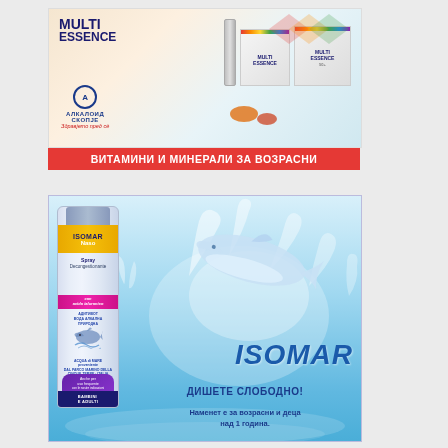[Figure (photo): Advertisement for Multi Essence vitamins and minerals product by Alkалоид Скопје. Shows product packaging including tubes and boxes with colorful branding against a warm gradient background.]
ВИТАМИНИ И МИНЕРАЛИ ЗА ВОЗРАСНИ
[Figure (photo): Advertisement for ISOMAR Naso nasal spray. Shows the product bottle on the left with a dolphin and water splash imagery. Text reads ISOMAR ДИШЕТЕ СЛОБОДНО! Наменет е за возрасни и деца над 1 година.]